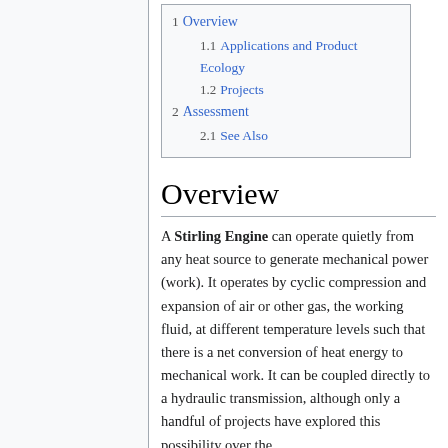1 Overview
1.1 Applications and Product Ecology
1.2 Projects
2 Assessment
2.1 See Also
Overview
A Stirling Engine can operate quietly from any heat source to generate mechanical power (work). It operates by cyclic compression and expansion of air or other gas, the working fluid, at different temperature levels such that there is a net conversion of heat energy to mechanical work. It can be coupled directly to a hydraulic transmission, although only a handful of projects have explored this possibility over the